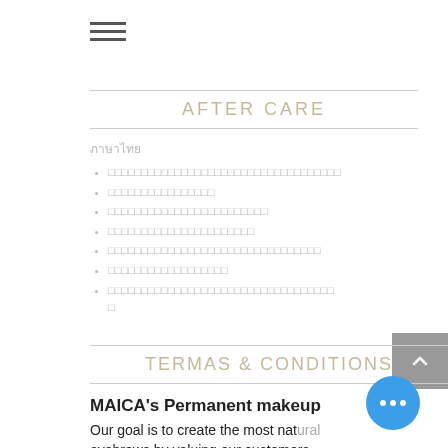[Figure (other): Hamburger menu icon (three horizontal lines)]
AFTER CARE
ภาษาไทย (Thai language label, unreadable glyphs)
กรุณาอย่า...  (Thai text, unreadable)
กรุณา... (Thai text, unreadable)
อย่า... (Thai text, unreadable)
อย่า... (Thai text, unreadable)
อย่า... (Thai text, unreadable)
อย่า... (Thai text, unreadable)
อย่า... (Thai text, unreadable)
TERMAS & CONDITIONS
MAICA's Permanent makeup
Our goal is to create the most natural eyebrows by valuing our customers